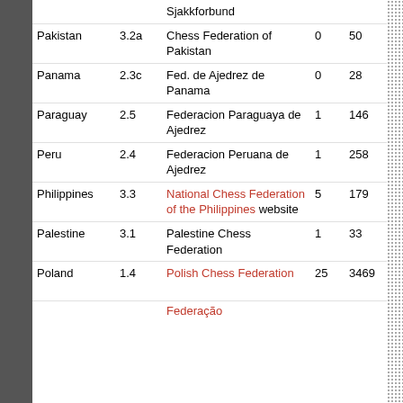| Country | Score | Federation | N1 | N2 | Championship |
| --- | --- | --- | --- | --- | --- |
| Pakistan | 3.2a | Chess Federation of Pakistan | 0 | 50 | Pakistani Chess Championship |
| Panama | 2.3c | Fed. de Ajedrez de Panama | 0 | 28 | Panamanian Chess Championship |
| Paraguay | 2.5 | Federacion Paraguaya de Ajedrez | 1 | 146 | Paraguayan Chess Championship |
| Peru | 2.4 | Federacion Peruana de Ajedrez | 1 | 258 | Peruvian Chess Championship |
| Philippines | 3.3 | National Chess Federation of the Philippines website | 5 | 179 | Philippine Chess Championship |
| Palestine | 3.1 | Palestine Chess Federation | 1 | 33 | Palestinian Chess Championship |
| Poland | 1.4 | Polish Chess Federation | 25 | 3469 | Polish Chess Championship |
| Portugal (partial) |  | Federação |  |  | Portuguese |